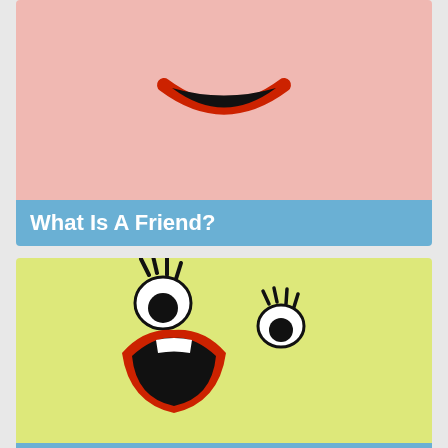[Figure (illustration): Pink background with a cartoon frowning mouth drawn in red outline with black interior, showing a sad expression.]
What Is A Friend?
[Figure (illustration): Yellow-green background with two cartoon eyes (with lashes) at different heights and a large open cartoon mouth with red lips, white teeth, showing an excited or surprised face expression.]
Social Interaction